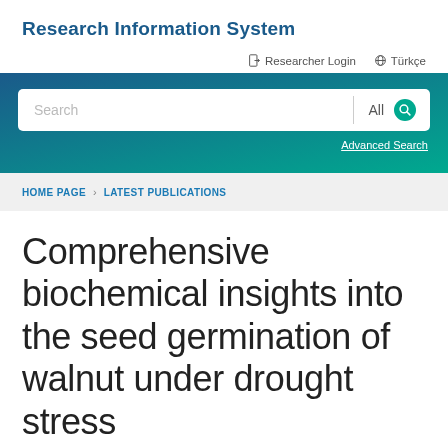Research Information System
Researcher Login   Türkçe
[Figure (screenshot): Search bar with text input field, 'All' dropdown, and search icon button on a teal/blue gradient background, with 'Advanced Search' link below]
HOME PAGE > LATEST PUBLICATIONS
Comprehensive biochemical insights into the seed germination of walnut under drought stress